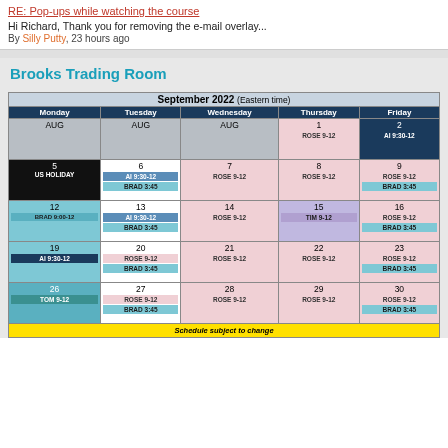RE: Pop-ups while watching the course
Hi Richard, Thank you for removing the e-mail overlay...
By Silly Putty, 23 hours ago
Brooks Trading Room
| Monday | Tuesday | Wednesday | Thursday | Friday |
| --- | --- | --- | --- | --- |
| AUG | AUG | AUG | 1 ROSE 9-12 | 2 AI 9:30-12 |
| 5 US HOLIDAY | 6 AI 9:30-12 BRAD 3:45 | 7 ROSE 9-12 | 8 ROSE 9-12 | 9 ROSE 9-12 BRAD 3:45 |
| 12 BRAD 9:00-12 | 13 AI 9:30-12 BRAD 3:45 | 14 ROSE 9-12 | 15 TIM 9-12 | 16 ROSE 9-12 BRAD 3:45 |
| 19 AI 9:30-12 | 20 ROSE 9-12 BRAD 3:45 | 21 ROSE 9-12 | 22 ROSE 9-12 | 23 ROSE 9-12 BRAD 3:45 |
| 26 TOM 9-12 | 27 ROSE 9-12 BRAD 3:45 | 28 ROSE 9-12 | 29 ROSE 9-12 | 30 ROSE 9-12 BRAD 3:45 |